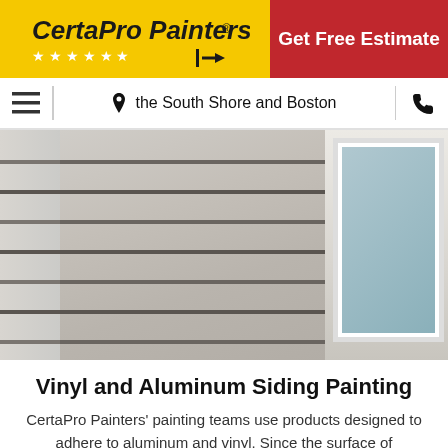CertaPro Painters® | Get Free Estimate
the South Shore and Boston
[Figure (photo): Close-up photo of vinyl/aluminum siding panels with a window frame visible on the right side]
Vinyl and Aluminum Siding Painting
CertaPro Painters' painting teams use products designed to adhere to aluminum and vinyl. Since the surface of aluminum and vinyl siding constantly